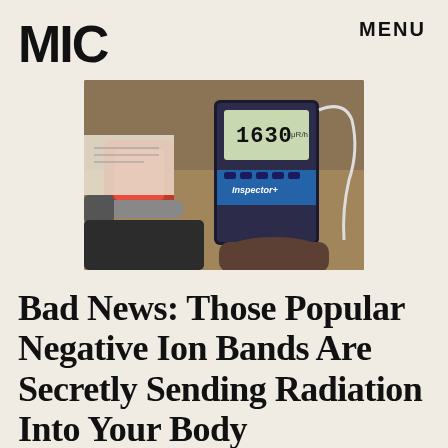MIC
MENU
[Figure (photo): A person holding a Geiger counter radiation measurement device showing a reading of 1630, with a red object and papers on a wooden table in the background.]
Bad News: Those Popular Negative Ion Bands Are Secretly Sending Radiation Into Your Body